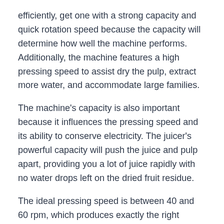efficiently, get one with a strong capacity and quick rotation speed because the capacity will determine how well the machine performs. Additionally, the machine features a high pressing speed to assist dry the pulp, extract more water, and accommodate large families.
The machine's capacity is also important because it influences the pressing speed and its ability to conserve electricity. The juicer's powerful capacity will push the juice and pulp apart, providing you a lot of juice rapidly with no water drops left on the dried fruit residue.
The ideal pressing speed is between 40 and 60 rpm, which produces exactly the right amount of pressure for the juicer to use 90 percent less water. I recommend nutribullet Slow Juicer.
T